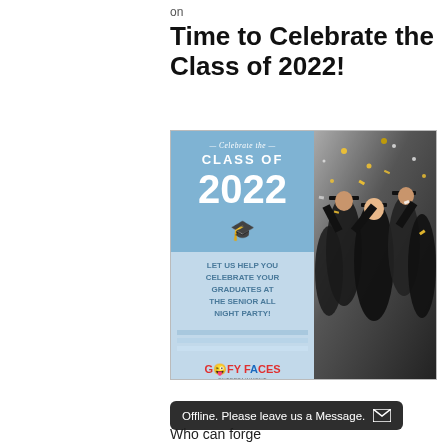on
Time to Celebrate the Class of 2022!
[Figure (illustration): Graduation promotion ad split into two panels: left panel with light blue background showing 'Celebrate the CLASS OF 2022' in white bold text with a graduation cap icon and text 'LET US HELP YOU CELEBRATE YOUR GRADUATES AT THE SENIOR ALL NIGHT PARTY!' with Goofy Faces logo at bottom; right panel shows photograph of graduates in black robes celebrating with confetti.]
Who can forge